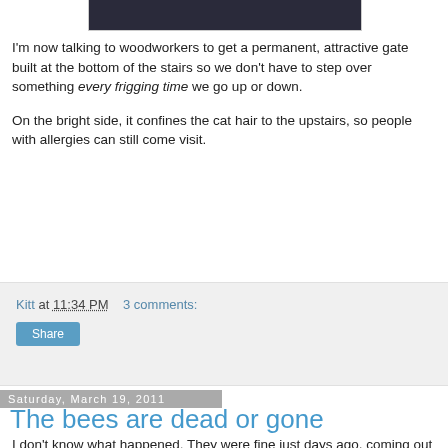[Figure (photo): Partial photo visible at top of page, dark tones]
I'm now talking to woodworkers to get a permanent, attractive gate built at the bottom of the stairs so we don't have to step over something every frigging time we go up or down.
On the bright side, it confines the cat hair to the upstairs, so people with allergies can still come visit.
Kitt at 11:34 PM    3 comments:
Share
Saturday, March 19, 2011
The bees are dead or gone
I don't know what happened. They were fine just days ago, coming out in groups for orientation flights, and zooming off for water and early pollen or propolis.